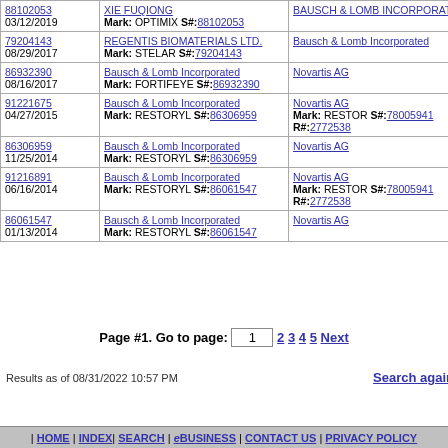| Serial/Date | Plaintiff/Mark | Defendant |
| --- | --- | --- |
| 88102053
03/12/2019 | XIE FUQIONG
Mark: OPTIMIX S#:88102053 | BAUSCH & LOMB INCORPORATED |
| 79204143
08/29/2017 | REGENTIS BIOMATERIALS LTD.
Mark: STELAR S#:79204143 | Bausch & Lomb Incorporated |
| 86932390
08/16/2017 | Bausch & Lomb Incorporated
Mark: FORTIFEYE S#:86932390 | Novartis AG |
| 91221675
04/27/2015 | Bausch & Lomb Incorporated
Mark: RESTORYL S#:86306959 | Novartis AG
Mark: RESTOR S#:78005941 R#:2772538 |
| 86306959
11/25/2014 | Bausch & Lomb Incorporated
Mark: RESTORYL S#:86306959 | Novartis AG |
| 91216891
06/16/2014 | Bausch & Lomb Incorporated
Mark: RESTORYL S#:86061547 | Novartis AG
Mark: RESTOR S#:78005941 R#:2772538 |
| 86061547
01/13/2014 | Bausch & Lomb Incorporated
Mark: RESTORYL S#:86061547 | Novartis AG |
Page #1. Go to page: 1  2 3 4 5 Next
Results as of 08/31/2022 10:57 PM
Search again
| HOME | INDEX | SEARCH | eBUSINESS | CONTACT US | PRIVACY POLICY